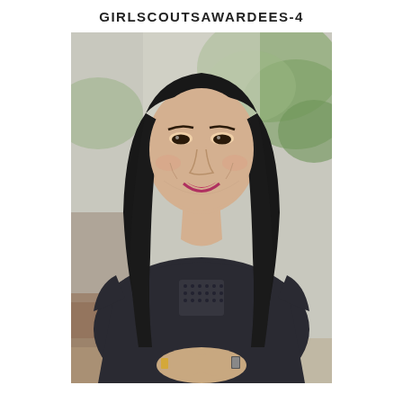GIRLSCOUTSAWARDEES-4
[Figure (photo): A smiling Asian woman with long dark hair, wearing a black short-sleeve top with a mesh/dotted pattern detail on the chest. She is seated with her hands clasped, wearing a gold bracelet. The background shows blurred green foliage and a warm wooden surface. The photo is in black-and-white/desaturated style with a slight warm tone.]